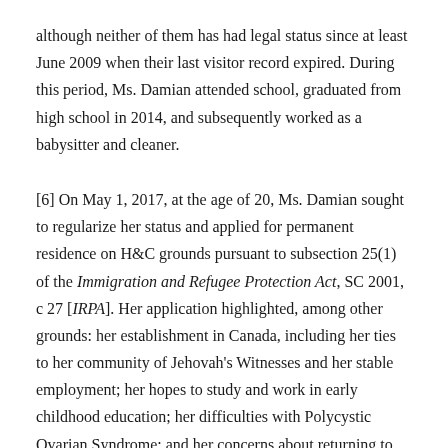although neither of them has had legal status since at least June 2009 when their last visitor record expired. During this period, Ms. Damian attended school, graduated from high school in 2014, and subsequently worked as a babysitter and cleaner.
[6] On May 1, 2017, at the age of 20, Ms. Damian sought to regularize her status and applied for permanent residence on H&C grounds pursuant to subsection 25(1) of the Immigration and Refugee Protection Act, SC 2001, c 27 [IRPA]. Her application highlighted, among other grounds: her establishment in Canada, including her ties to her community of Jehovah's Witnesses and her stable employment; her hopes to study and work in early childhood education; her difficulties with Polycystic Ovarian Syndrome; and her concerns about returning to Colombia,